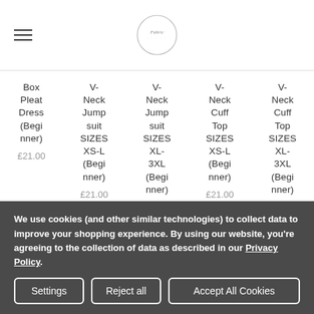Navigation header with hamburger menu and logo
Box Pleat Dress (Beginner) £21.00
V-Neck Jumpsuit SIZES XS-L (Beginner) £21.00
V-Neck Jumpsuit SIZES XL-3XL (Beginner) £21.00
V-Neck Cuff Top SIZES XS-L (Beginner) £21.00
V-Neck Cuff Top SIZES XL-3XL (Beginner) £21.00
We use cookies (and other similar technologies) to collect data to improve your shopping experience. By using our website, you're agreeing to the collection of data as described in our Privacy Policy.
Settings | Reject all | Accept All Cookies